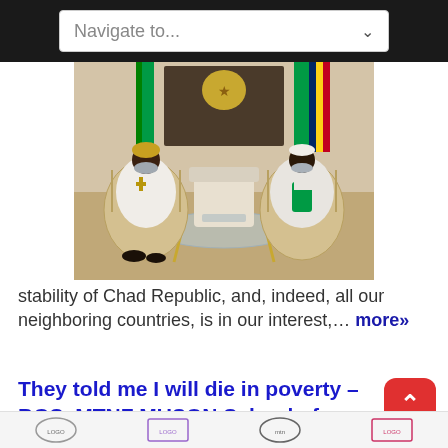Navigate to...
[Figure (photo): Two men in white robes wearing face masks seated in ornate chairs in a formal reception room with flags and a coat of arms on the wall behind them, with a glass coffee table between them.]
stability of Chad Republic, and, indeed, all our neighboring countries, is in our interest,… more»
They told me I will die in poverty – BGS, MTNF MUSON School of Music
August 18, 2022